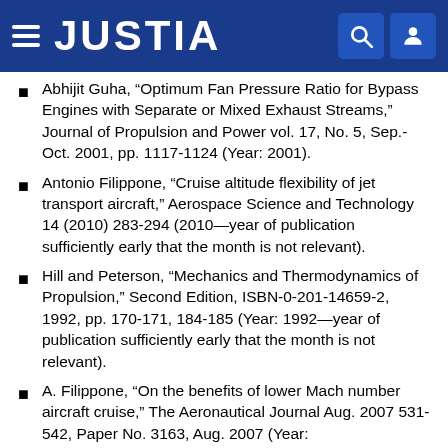JUSTIA
Abhijit Guha, “Optimum Fan Pressure Ratio for Bypass Engines with Separate or Mixed Exhaust Streams,” Journal of Propulsion and Power vol. 17, No. 5, Sep.-Oct. 2001, pp. 1117-1124 (Year: 2001).
Antonio Filippone, “Cruise altitude flexibility of jet transport aircraft,” Aerospace Science and Technology 14 (2010) 283-294 (2010—year of publication sufficiently early that the month is not relevant).
Hill and Peterson, “Mechanics and Thermodynamics of Propulsion,” Second Edition, ISBN-0-201-14659-2, 1992, pp. 170-171, 184-185 (Year: 1992—year of publication sufficiently early that the month is not relevant).
A. Filippone, “On the benefits of lower Mach number aircraft cruise,” The Aeronautical Journal Aug. 2007 531-542, Paper No. 3163, Aug. 2007 (Year: